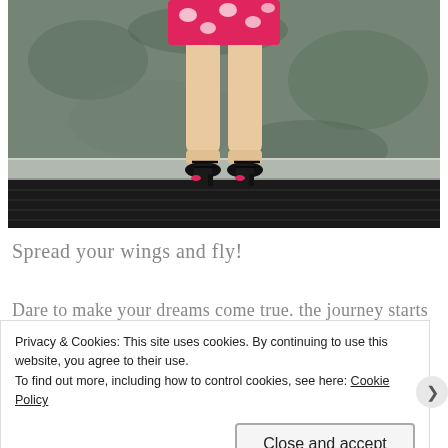[Figure (photo): Photo showing the lower half of a person wearing a pink floral skirt/shorts and black strappy heels, standing on a dark wooden deck with a textured grey wall in the background.]
Spread your wings and fly!
Dare to make your dreams come true. the journey starts
Privacy & Cookies: This site uses cookies. By continuing to use this website, you agree to their use.
To find out more, including how to control cookies, see here: Cookie Policy
Close and accept